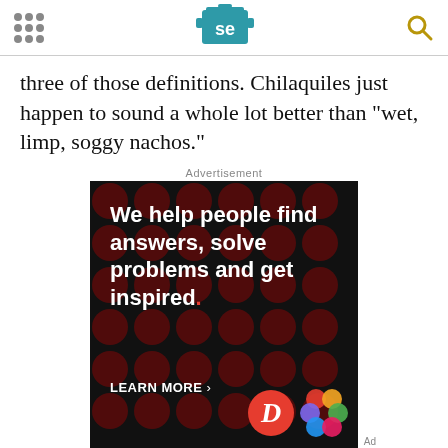Serious Eats header with navigation dots, SE logo, and search icon
three of those definitions. Chilaquiles just happen to sound a whole lot better than "wet, limp, soggy nachos."
Advertisement
[Figure (other): Dotdash Meredith advertisement: 'We help people find answers, solve problems and get inspired. LEARN MORE' with Dotdash D logo and colorful Meredith knot logo on black background with dark red polka dot pattern, plus bottom bar with same tagline and Dotdash meredith branding]